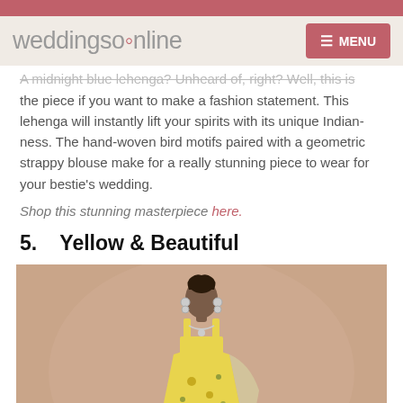weddingsonline   MENU
A midnight blue lehenga? Unheard of, right? Well, this is the piece if you want to make a fashion statement. This lehenga will instantly lift your spirits with its unique Indian-ness. The hand-woven bird motifs paired with a geometric strappy blouse make for a really stunning piece to wear for your bestie's wedding.
Shop this stunning masterpiece here.
5.   Yellow & Beautiful
[Figure (photo): Woman wearing a yellow floral lehenga with silver jewellery against a beige background]